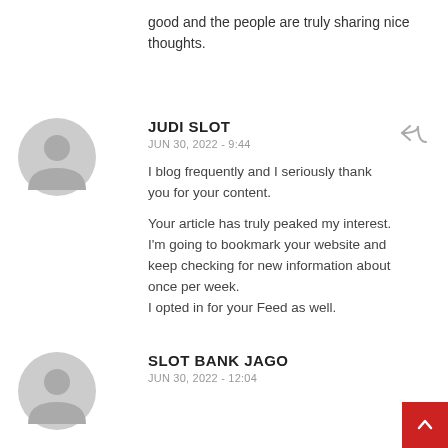good and the people are truly sharing nice thoughts.
JUDI SLOT
JUN 30, 2022 - 9:44
I blog frequently and I seriously thank you for your content.

Your article has truly peaked my interest. I'm going to bookmark your website and keep checking for new information about once per week.
I opted in for your Feed as well.
SLOT BANK JAGO
JUN 30, 2022 - 12:04